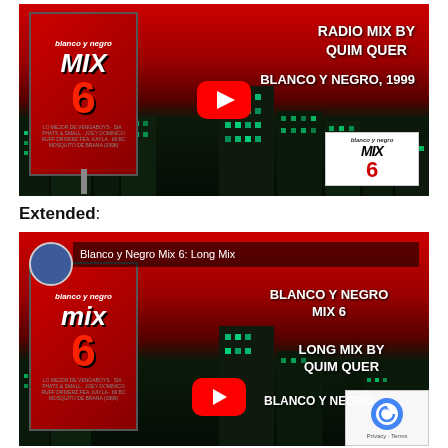[Figure (screenshot): YouTube video thumbnail for Blanco y Negro Mix 6 Radio Mix by Quim Quer, Blanco y Negro 1999. Shows album cover on left with city skyline background and red play button in center.]
Extended:
[Figure (screenshot): YouTube video thumbnail for Blanco y Negro Mix 6 Long Mix by Quim Quer, Blanco y Negro. Shows album cover on left, video title overlay reading 'Blanco y Negro Mix 6: Long Mix', and reCAPTCHA badge in bottom right corner.]